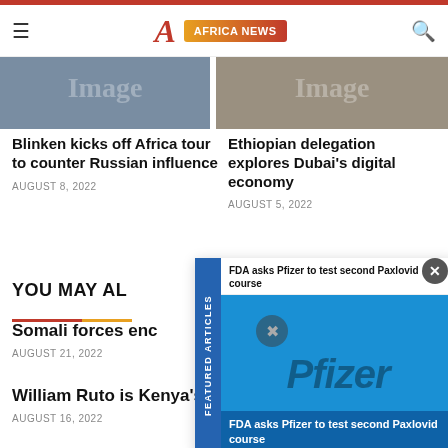AFRICA NEWS
Blinken kicks off Africa tour to counter Russian influence
AUGUST 8, 2022
Ethiopian delegation explores Dubai's digital economy
AUGUST 5, 2022
YOU MAY ALSO
Somali forces enc...
AUGUST 21, 2022
William Ruto is Kenya's new President
AUGUST 16, 2022
[Figure (screenshot): Featured Articles overlay showing FDA asks Pfizer to test second Paxlovid course with Pfizer logo image in blue]